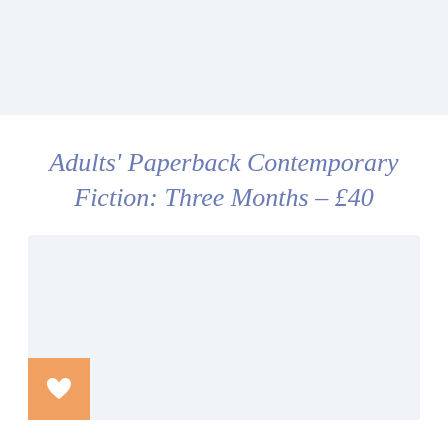Adults' Paperback Contemporary Fiction: Three Months – £40
[Figure (other): Orange/salmon colored square button with a white heart icon in the center, positioned in the bottom-left corner]